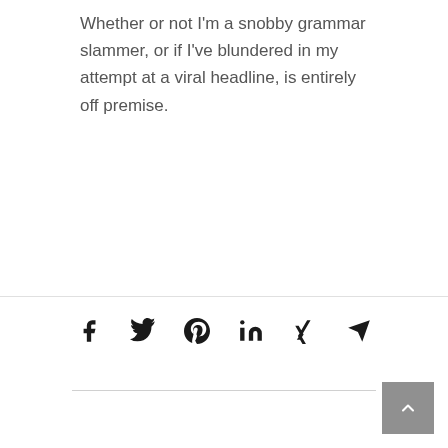Whether or not I'm a snobby grammar slammer, or if I've blundered in my attempt at a viral headline, is entirely off premise.
[Figure (infographic): Social share icons row: Facebook, Twitter, Pinterest, LinkedIn, Xing, Telegram/email]